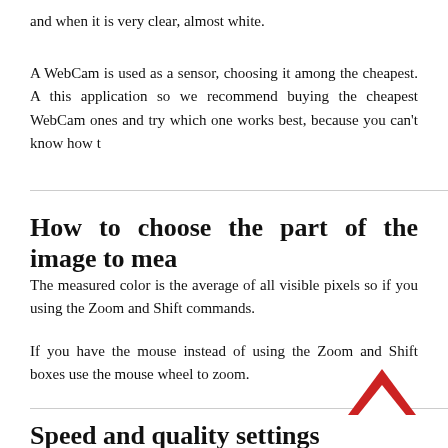and when it is very clear, almost white.
A WebCam is used as a sensor, choosing it among the cheapest. A this application so we recommend buying the cheapest WebCam ones and try which one works best, because you can't know how t
How to choose the part of the image to mea
The measured color is the average of all visible pixels so if you using the Zoom and Shift commands.
If you have the mouse instead of using the Zoom and Shift boxes use the mouse wheel to zoom.
Speed and quality settings